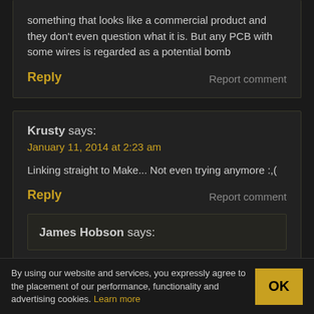something that looks like a commercial product and they don't even question what it is. But any PCB with some wires is regarded as a potential bomb
Reply
Report comment
Krusty says:
January 11, 2014 at 2:23 am
Linking straight to Make... Not even trying anymore :,(
Reply
Report comment
James Hobson says:
By using our website and services, you expressly agree to the placement of our performance, functionality and advertising cookies. Learn more